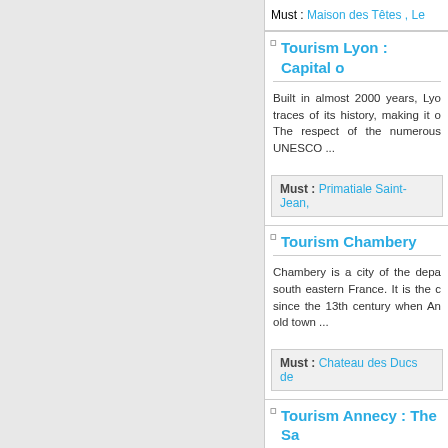Must : Maison des Têtes , Le...
Tourism Lyon : Capital o...
Built in almost 2000 years, Lyo... traces of its history, making it o... The respect of the numerous... UNESCO ...
Must : Primatiale Saint-Jean,...
Tourism Chambery
Chambery is a city of the depa... south eastern France. It is the c... since the 13th century when An... old town ...
Must : Chateau des Ducs de...
Tourism Annecy : The Sa...
Annecy is also called the "Sav... canals and crystal clear water... next to snowy mountains. This...